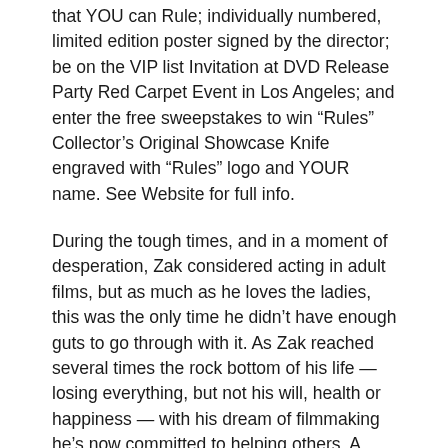that YOU can Rule; individually numbered, limited edition poster signed by the director; be on the VIP list Invitation at DVD Release Party Red Carpet Event in Los Angeles; and enter the free sweepstakes to win “Rules” Collector’s Original Showcase Knife engraved with “Rules” logo and YOUR name. See Website for full info.
During the tough times, and in a moment of desperation, Zak considered acting in adult films, but as much as he loves the ladies, this was the only time he didn’t have enough guts to go through with it. As Zak reached several times the rock bottom of his life — losing everything, but not his will, health or happiness — with his dream of filmmaking he’s now committed to helping others. A portion of the proceeds from the sale of the “Rules” DVD will benefit the Homeless Not Toothless Organization founded by Dr. Jay Grossman in 1992, Homeless Not Toothless is a 501c(3) non-profit program providing free dental care to the homeless and under-served. Along with actress Sharon Stone, Homeless Not Toothless is committed to building a